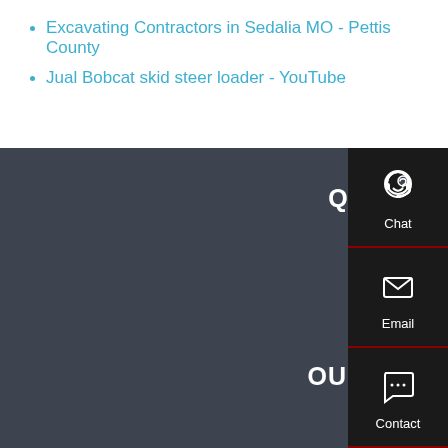Excavating Contractors in Sedalia MO - Pettis County
Jual Bobcat skid steer loader - YouTube
QUICK LINKS
Home
About Us
Our Products
Our Projects
Contact
OUR PRODUCTS
[Figure (infographic): Right sidebar with Chat (headset icon), Email (envelope icon), and Contact (speech bubble icon) navigation items on dark background]
Chat
Email
Contact